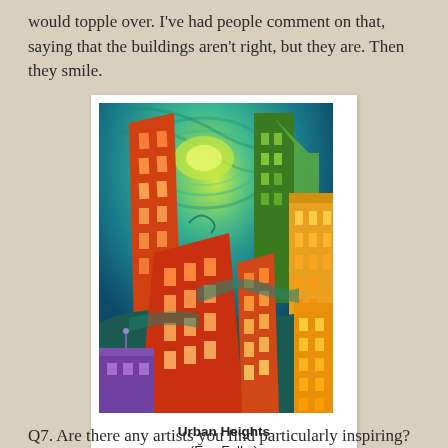would topple over. I've had people comment on that, saying that the buildings aren't right, but they are. Then they smile.
[Figure (illustration): Colorful expressionist painting of a dense urban cityscape with tilted, vibrant buildings in orange, red, yellow and green, against a swirling teal/green night sky. The buildings appear to lean and tilt dramatically. Caption: Urban Heights (Eva Folks).]
Urban Heights
(Eva Folks)
Q7. Are there any artists you find particularly inspiring?